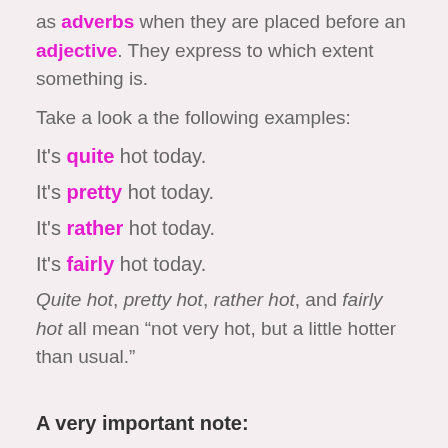as adverbs when they are placed before an adjective. They express to which extent something is.
Take a look a the following examples:
It's quite hot today.
It's pretty hot today.
It's rather hot today.
It's fairly hot today.
Quite hot, pretty hot, rather hot, and fairly hot all mean "not very hot, but a little hotter than usual."
A very important note:
In SPOKEN ENGLISH, Quite can mean Completely